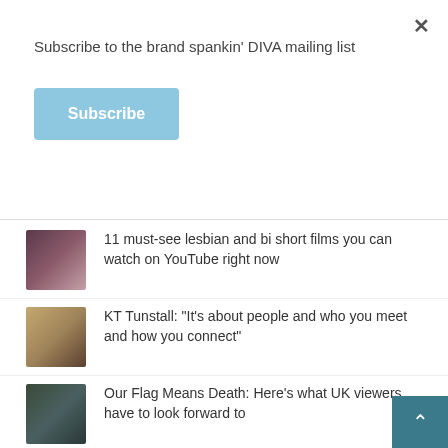Subscribe to the brand spankin' DIVA mailing list
Subscribe
11 must-see lesbian and bi short films you can watch on YouTube right now
KT Tunstall: "It's about people and who you meet and how you connect"
Our Flag Means Death: Here's what UK viewers have to look forward to
"There's never been any option for me to be in": Lucy Spraggan talks new single, Everything Changes
Women's Euros 2022: Which Lionesses are out as LGBTQI and who are they dating?